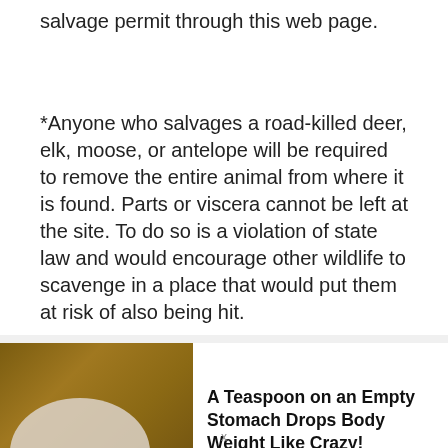salvage permit through this web page.
*Anyone who salvages a road-killed deer, elk, moose, or antelope will be required to remove the entire animal from where it is found. Parts or viscera cannot be left at the site. To do so is a violation of state law and would encourage other wildlife to scavenge in a place that would put them at risk of also being hit.
[Figure (infographic): Advertisement banner with an image of a white powder in a plastic scoop on a wooden surface, alongside bold text reading: A Teaspoon on an Empty Stomach Drops Body Weight Like Crazy!]